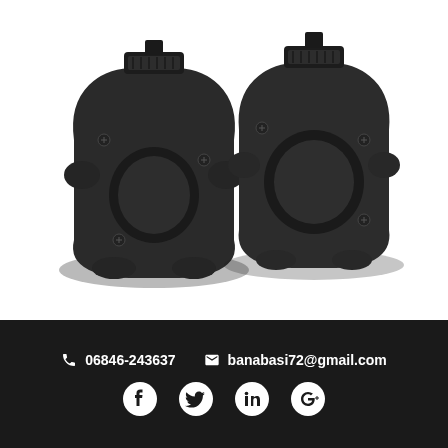[Figure (photo): Two black barbell collar clamps / locking collars for weightlifting bars, shown on a white background. Both are black plastic/metal quick-release style collars.]
06846-243637   banabasi72@gmail.com
[Figure (other): Social media icons row: Facebook, Twitter, LinkedIn, Google+]